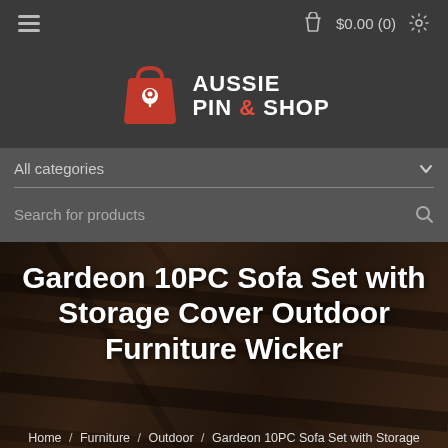$0.00 (0)
[Figure (logo): Aussie Pin & Shop logo — red shopping bag with location pin icon and white bold text]
All categories
Search for products
Gardeon 10PC Sofa Set with Storage Cover Outdoor Furniture Wicker
Home / Furniture / Outdoor / Gardeon 10PC Sofa Set with Storage Cover Outdoor Furniture Wicker